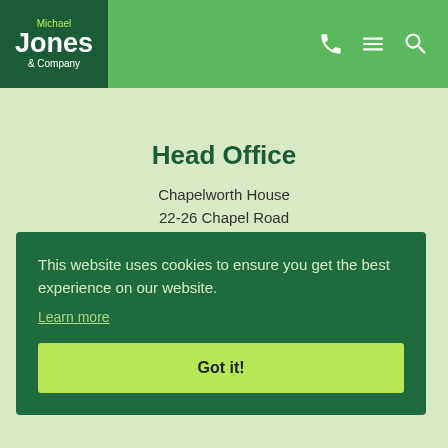[Figure (logo): Michael Jones & Company logo in dark green box with light green accent on company name]
Michael Jones & Company — navigation header with phone, menu, and search icons
Head Office
Chapelworth House
22-26 Chapel Road
This website uses cookies to ensure you get the best experience on our website. Learn more
Got it!